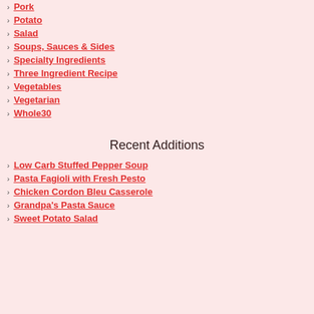Pork
Potato
Salad
Soups, Sauces & Sides
Specialty Ingredients
Three Ingredient Recipe
Vegetables
Vegetarian
Whole30
Recent Additions
Low Carb Stuffed Pepper Soup
Pasta Fagioli with Fresh Pesto
Chicken Cordon Bleu Casserole
Grandpa's Pasta Sauce
Sweet Potato Salad